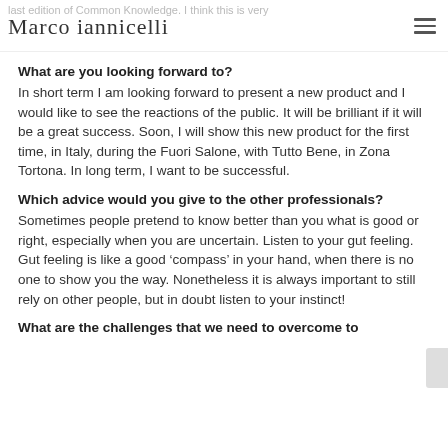last edition of Common Knowledge. I think this is very
Marco Iannicelli
What are you looking forward to?
In short term I am looking forward to present a new product and I would like to see the reactions of the public. It will be brilliant if it will be a great success. Soon, I will show this new product for the first time, in Italy, during the Fuori Salone, with Tutto Bene, in Zona Tortona. In long term, I want to be successful.
Which advice would you give to the other professionals?
Sometimes people pretend to know better than you what is good or right, especially when you are uncertain. Listen to your gut feeling. Gut feeling is like a good ‘compass’ in your hand, when there is no one to show you the way. Nonetheless it is always important to still rely on other people, but in doubt listen to your instinct!
What are the challenges that we need to overcome to